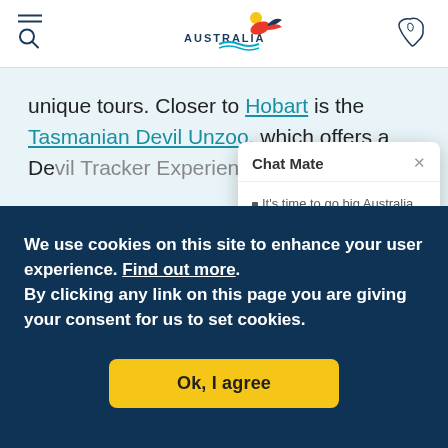Tourism Australia website header with menu/search icon, Australia logo, and map icon
unique tours. Closer to Hobart is the Tasmanian Devil Unzoo, which offers a Devil Tracker Experience — a 4WD tour on which you help
[Figure (screenshot): Chat Mate popup overlay with title 'Chat Mate' and text: It's time to go big Australia. Connect with an Aussie Specialist now to plan your perfect holiday]
We use cookies on this site to enhance your user experience. Find out more.
By clicking any link on this page you are giving your consent for us to set cookies.
Ok, I agree